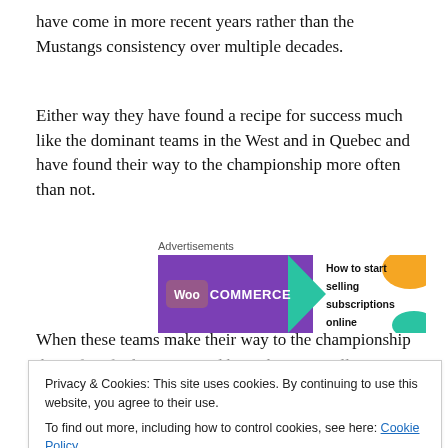have come in more recent years rather than the Mustangs consistency over multiple decades.
Either way they have found a recipe for success much like the dominant teams in the West and in Quebec and have found their way to the championship more often than not.
[Figure (other): WooCommerce advertisement banner: purple background with WooCommerce logo on the left and text 'How to start selling subscriptions online' on the right with colored decorative shapes.]
When these teams make their way to the championship
Privacy & Cookies: This site uses cookies. By continuing to use this website, you agree to their use. To find out more, including how to control cookies, see here: Cookie Policy
Close and accept